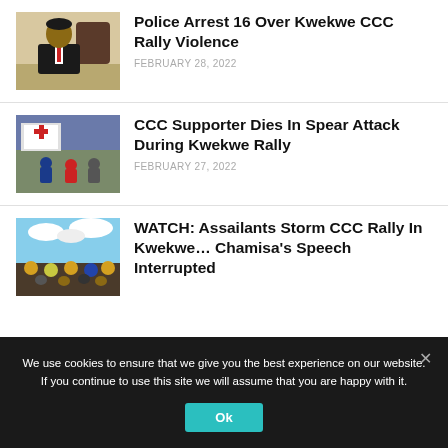[Figure (photo): Man in suit with red tie sitting at a desk]
Police Arrest 16 Over Kwekwe CCC Rally Violence
FEBRUARY 28, 2022
[Figure (photo): People gathered outdoors, red and white cross sign visible]
CCC Supporter Dies In Spear Attack During Kwekwe Rally
FEBRUARY 27, 2022
[Figure (photo): Large crowd at outdoor rally with blue sky and clouds]
WATCH: Assailants Storm CCC Rally In Kwekwe… Chamisa's Speech Interrupted
We use cookies to ensure that we give you the best experience on our website. If you continue to use this site we will assume that you are happy with it.